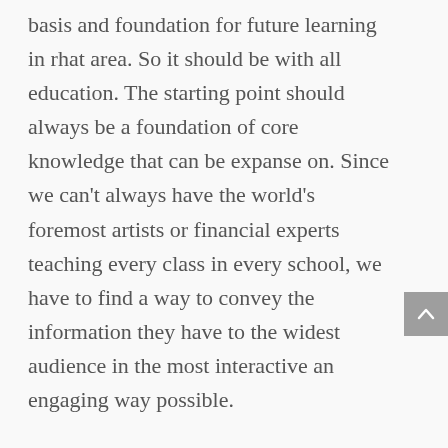basis and foundation for future learning in rhat area. So it should be with all education. The starting point should always be a foundation of core knowledge that can be expanse on. Since we can't always have the world's foremost artists or financial experts teaching every class in every school, we have to find a way to convey the information they have to the widest audience in the most interactive an engaging way possible.

Apple's solution looks like a pretty darn good start. Is it the best way or will it have any success at all? Only time will tell, but I can tell you who doesn't have the